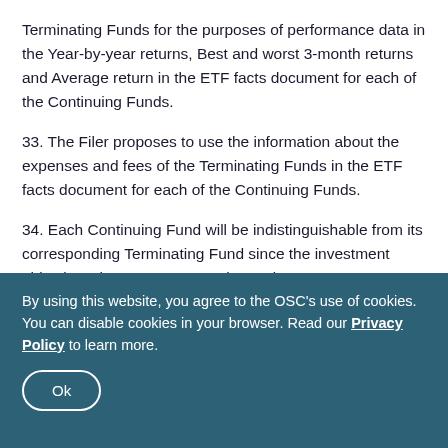Terminating Funds for the purposes of performance data in the Year-by-year returns, Best and worst 3-month returns and Average return in the ETF facts document for each of the Continuing Funds.
33. The Filer proposes to use the information about the expenses and fees of the Terminating Funds in the ETF facts document for each of the Continuing Funds.
34. Each Continuing Fund will be indistinguishable from its corresponding Terminating Fund since the investment objectives, investment strategies and
By using this website, you agree to the OSC's use of cookies. You can disable cookies in your browser. Read our Privacy Policy to learn more.